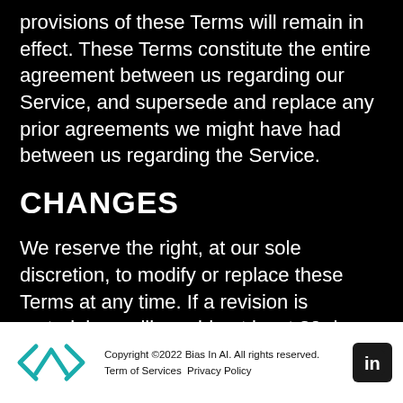provisions of these Terms will remain in effect. These Terms constitute the entire agreement between us regarding our Service, and supersede and replace any prior agreements we might have had between us regarding the Service.
CHANGES
We reserve the right, at our sole discretion, to modify or replace these Terms at any time. If a revision is material we will provide at least 30 days
Copyright ©2022 Bias In AI. All rights reserved. Term of Services Privacy Policy